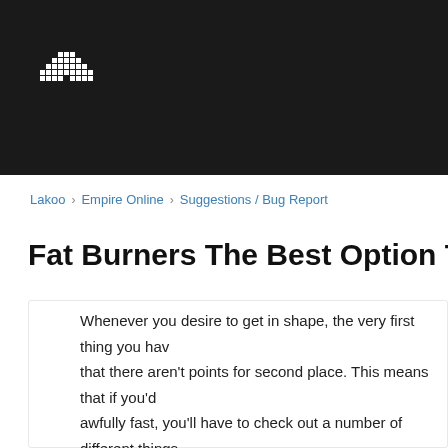[Figure (logo): Lakoo pixel art logo - white pixelated figure on dark background]
Lakoo > Empire Online > Suggestions / Bug Report
Fat Burners The Best Option To Drop Som...
Whenever you desire to get in shape, the very first thing you have to understand is that there aren't points for second place. This means that if you'd like to shed weight awfully fast, you'll have to check out a number of different things... as well as exercises. However, that is not going to cut it. You are